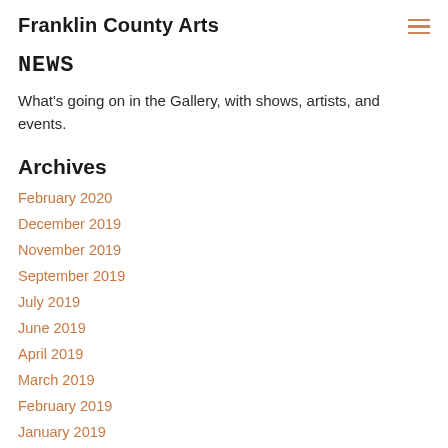Franklin County Arts
NEWS
What's going on in the Gallery, with shows, artists, and events.
Archives
February 2020
December 2019
November 2019
September 2019
July 2019
June 2019
April 2019
March 2019
February 2019
January 2019